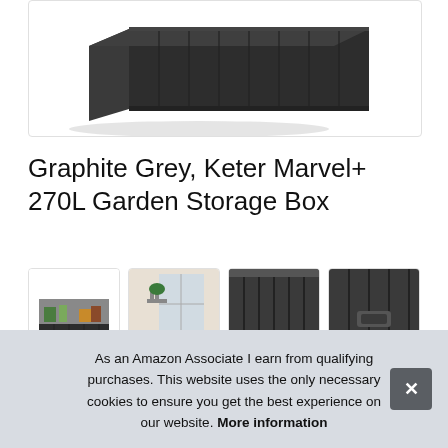[Figure (photo): Dark graphite grey Keter Marvel+ 270L garden storage box, viewed from a slightly elevated angle showing the front and left side. The box has vertical ribbed texture and appears very dark charcoal/graphite in color.]
Graphite Grey, Keter Marvel+ 270L Garden Storage Box
[Figure (photo): Thumbnail: Keter storage box open with garden items inside]
[Figure (photo): Thumbnail: Keter storage box in an outdoor/patio setting]
[Figure (photo): Thumbnail: Close-up of vertical ribbed texture of storage box surface]
[Figure (photo): Thumbnail: Side/detail view of storage box showing handle]
Keter ... cap... weatherproof, maintenance and fade-free plastic.
As an Amazon Associate I earn from qualifying purchases. This website uses the only necessary cookies to ensure you get the best experience on our website. More information